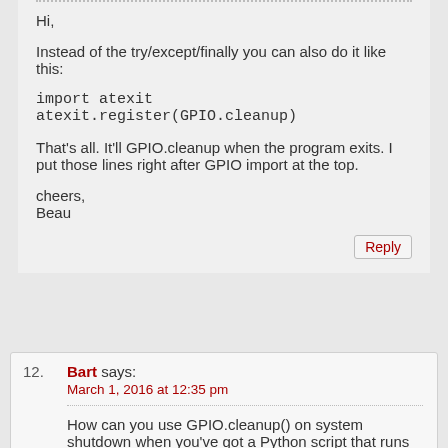Hi,
Instead of the try/except/finally you can also do it like this:
import atexit
atexit.register(GPIO.cleanup)
That's all. It'll GPIO.cleanup when the program exits. I put those lines right after GPIO import at the top.
cheers,
Beau
Reply
12. Bart says:
March 1, 2016 at 12:35 pm
How can you use GPIO.cleanup() on system shutdown when you've got a Python script that runs continuously through something like
GPIO.wait_for_edge(23, GPIO.RISING)